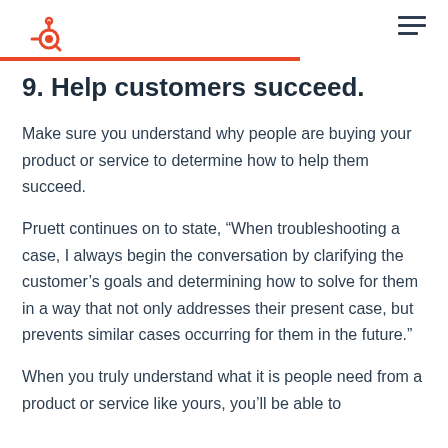HubSpot logo and navigation
9. Help customers succeed.
Make sure you understand why people are buying your product or service to determine how to help them succeed.
Pruett continues on to state, “When troubleshooting a case, I always begin the conversation by clarifying the customer’s goals and determining how to solve for them in a way that not only addresses their present case, but prevents similar cases occurring for them in the future.”
When you truly understand what it is people need from a product or service like yours, you’ll be able to